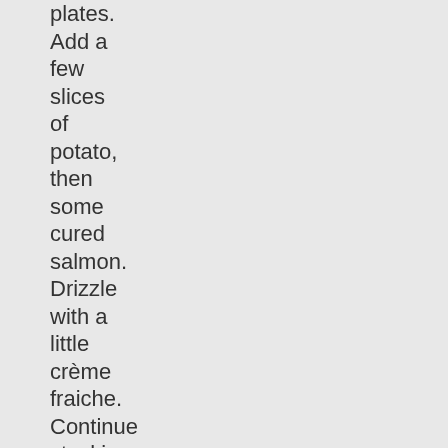plates. Add a few slices of potato, then some cured salmon. Drizzle with a little crème fraiche. Continue stacking in this order until all the salmon has been used. Drizzle over the remaining crème fraiche and add a